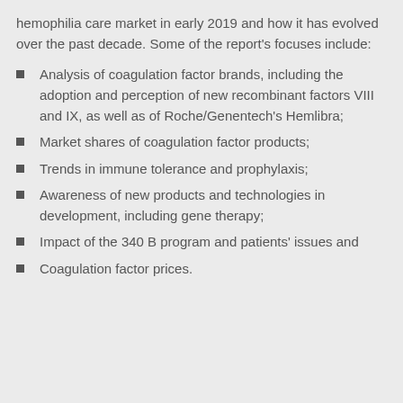hemophilia care market in early 2019 and how it has evolved over the past decade. Some of the report's focuses include:
Analysis of coagulation factor brands, including the adoption and perception of new recombinant factors VIII and IX, as well as of Roche/Genentech's Hemlibra;
Market shares of coagulation factor products;
Trends in immune tolerance and prophylaxis;
Awareness of new products and technologies in development, including gene therapy;
Impact of the 340 B program and patients' issues and
Coagulation factor prices.